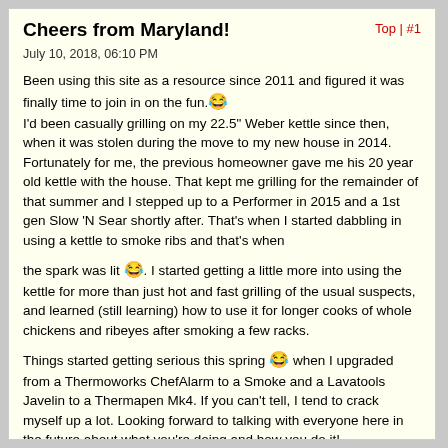Cheers from Maryland!
July 10, 2018, 06:10 PM
Been using this site as a resource since 2011 and figured it was finally time to join in on the fun. 😂 I'd been casually grilling on my 22.5" Weber kettle since then, when it was stolen during the move to my new house in 2014. Fortunately for me, the previous homeowner gave me his 20 year old kettle with the house. That kept me grilling for the remainder of that summer and I stepped up to a Performer in 2015 and a 1st gen Slow 'N Sear shortly after. That's when I started dabbling in using a kettle to smoke ribs and that's when the spark was lit 😂. I started getting a little more into using the kettle for more than just hot and fast grilling of the usual suspects, and learned (still learning) how to use it for longer cooks of whole chickens and ribeyes after smoking a few racks.
Things started getting serious this spring 😂 when I upgraded from a Thermoworks ChefAlarm to a Smoke and a Lavatools Javelin to a Thermapen Mk4. If you can't tell, I tend to crack myself up a lot. Looking forward to talking with everyone here in the future about what you're doing and how you do it!
Tags: None